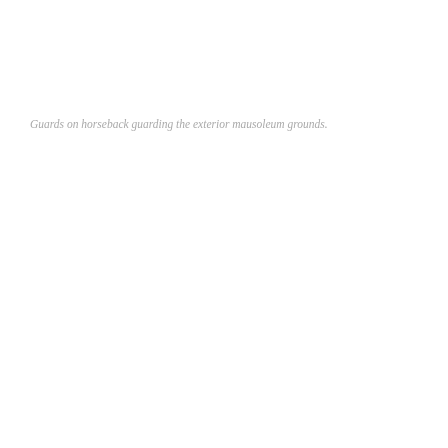Guards on horseback guarding the exterior mausoleum grounds.